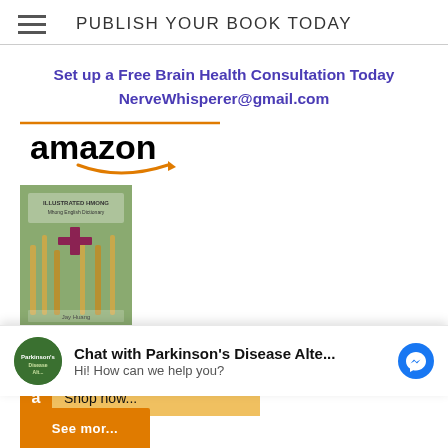PUBLISH YOUR BOOK TODAY
Set up a Free Brain Health Consultation Today
NerveWhisperer@gmail.com
[Figure (logo): Amazon logo with orange smile/arrow underneath, bordered by orange horizontal line at top]
[Figure (photo): Book cover thumbnail for Hmong Dictionary on Amazon product listing]
Hmong Dictionary:....
[Figure (screenshot): Partial Amazon Shop now button area with orange A icon]
[Figure (screenshot): Chat widget: Chat with Parkinson's Disease Alte... Hi! How can we help you? with Messenger icon]
[Figure (screenshot): Bottom partial orange Shop/Buy button]